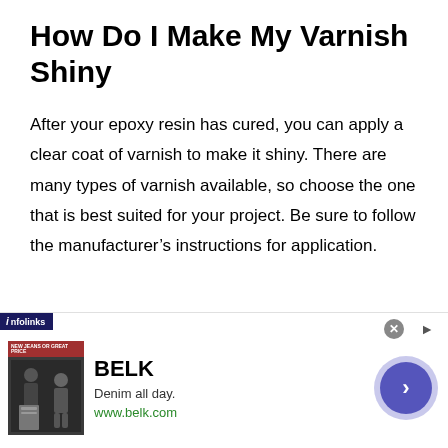How Do I Make My Varnish Shiny
After your epoxy resin has cured, you can apply a clear coat of varnish to make it shiny. There are many types of varnish available, so choose the one that is best suited for your project. Be sure to follow the manufacturer's instructions for application.
If you are using an oil-based varnish, be sure
[Figure (screenshot): Advertisement banner from Infolinks showing a BELK clothing store ad with tagline 'Denim all day.' and URL www.belk.com, with a close button and navigation arrow]